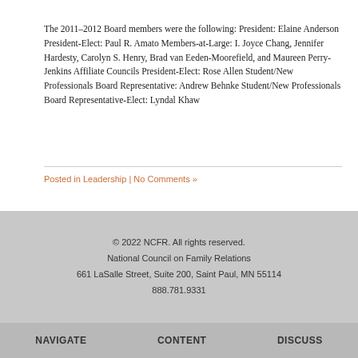The 2011–2012 Board members were the following: President: Elaine Anderson President-Elect: Paul R. Amato Members-at-Large: I. Joyce Chang, Jennifer Hardesty, Carolyn S. Henry, Brad van Eeden-Moorefield, and Maureen Perry-Jenkins Affiliate Councils President-Elect: Rose Allen Student/New Professionals Board Representative: Andrew Behnke Student/New Professionals Board Representative-Elect: Lyndal Khaw
Posted in Leadership | No Comments »
© 2022 NCFR. All rights reserved. National Council on Family Relations 661 LaSalle Street, Suite 200, Saint Paul, MN 55114 888.781.9331
NAVIGATE  CONTENT  DISCUSS